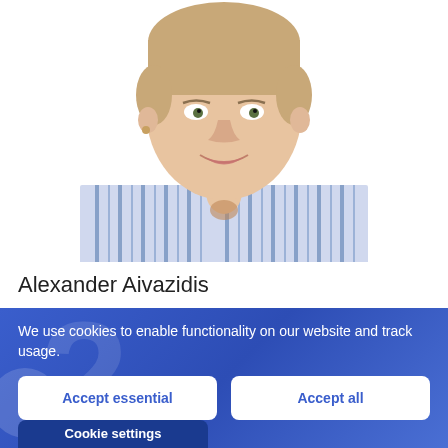[Figure (photo): Portrait photo of a young man with short hair, smiling, wearing a blue and white striped collarless shirt, white background, cropped at chest level]
Alexander Aivazidis
We use cookies to enable functionality on our website and track usage.
Accept essential
Accept all
Cookie settings